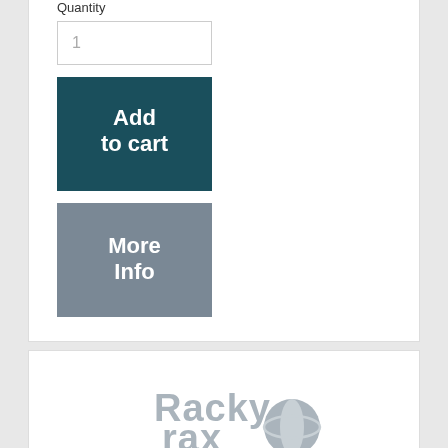Quantity
1
Add to cart
More Info
[Figure (logo): Rackyrax logo placeholder with camera icon and 'Image Coming Soon' text]
Image Coming Soon
600mm x 1040mm Server Cabinet Plinth